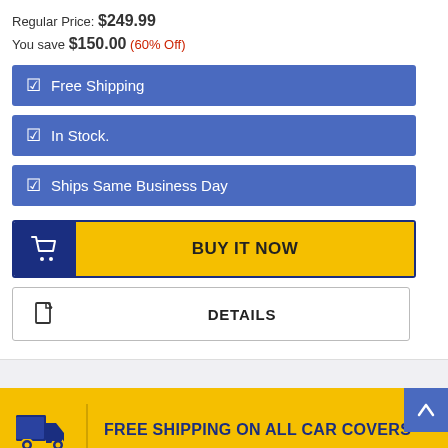Regular Price: $249.99
You save $150.00 (60% Off)
☑ Free Shipping
☑ In Stock.
☑ Ships Same Business Day
[Figure (other): BUY IT NOW button with shopping cart icon on dark blue left panel and yellow right panel]
[Figure (other): DETAILS button with document icon on left and text on right, outlined style]
FREE SHIPPING ON ALL CAR COVERS